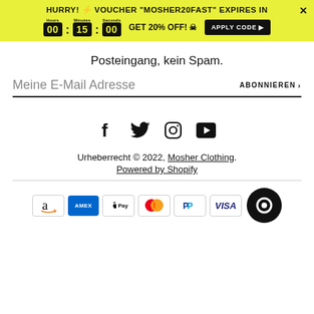[Figure (screenshot): Yellow promotional banner with countdown timer showing 00:15:00, text 'HURRY! VOUCHER MOSHER20FAST EXPIRES IN', 'GET 20% OFF!' with skull icon, and 'APPLY CODE' button. Close X button top right.]
Posteingang, kein Spam.
Meine E-Mail Adresse
ABONNIEREN ▸
[Figure (infographic): Social media icons row: Facebook (f), Twitter (bird), Instagram (camera), YouTube (play button)]
Urheberrecht © 2022, Mosher Clothing.
Powered by Shopify
[Figure (infographic): Payment method logos: Amazon, American Express, Apple Pay, Mastercard, PayPal, Visa, and a chat bubble icon]